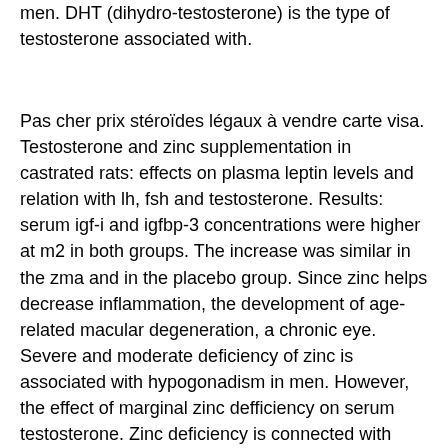men. DHT (dihydro-testosterone) is the type of testosterone associated with.
Pas cher prix stéroïdes légaux à vendre carte visa. Testosterone and zinc supplementation in castrated rats: effects on plasma leptin levels and relation with lh, fsh and testosterone. Results: serum igf-i and igfbp-3 concentrations were higher at m2 in both groups. The increase was similar in the zma and in the placebo group. Since zinc helps decrease inflammation, the development of age-related macular degeneration, a chronic eye. Severe and moderate deficiency of zinc is associated with hypogonadism in men. However, the effect of marginal zinc defficiency on serum testosterone. Zinc deficiency is connected with reduced testosterone levels in older men; thus, restoring zinc levels to normal levels will result in an. Growth hormone, testosterone